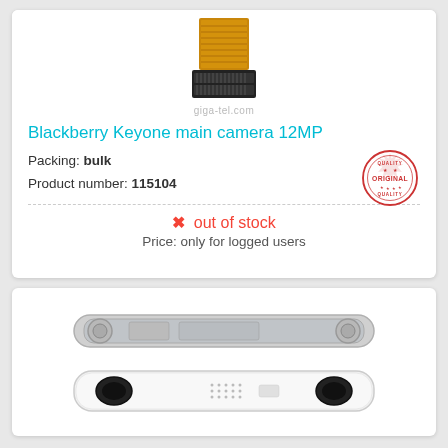[Figure (photo): Blackberry Keyone main camera module flex cable with connector]
Blackberry Keyone main camera 12MP
Packing: bulk
Product number: 115104
[Figure (illustration): Original quality badge/stamp in red]
✗ out of stock
Price: only for logged users
[Figure (photo): Two views of a phone bottom bracket/speaker grille part in silver/white]